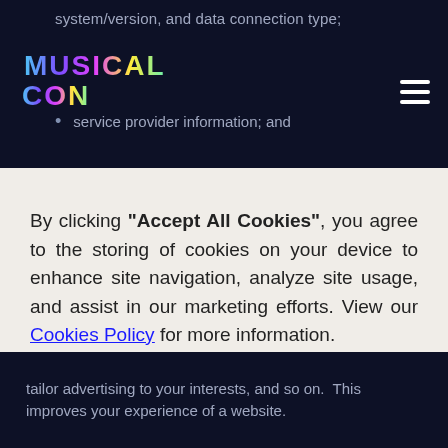system/version, and data connection type;
service provider information; and
By clicking "Accept All Cookies", you agree to the storing of cookies on your device to enhance site navigation, analyze site usage, and assist in our marketing efforts. View our Cookies Policy for more information.
Accept
Deny
tailor advertising to your interests, and so on. This improves your experience of a website.